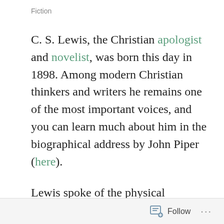Fiction
C. S. Lewis, the Christian apologist and novelist, was born this day in 1898. Among modern Christian thinkers and writers he remains one of the most important voices, and you can learn much about him in the biographical address by John Piper (here).
Lewis spoke of the physical limitations that pushed him towards fictional adventure and novel writing in his autobiography, Surprised By Joy: The Shape of My Early Life (1955), page 12:
Follow ...